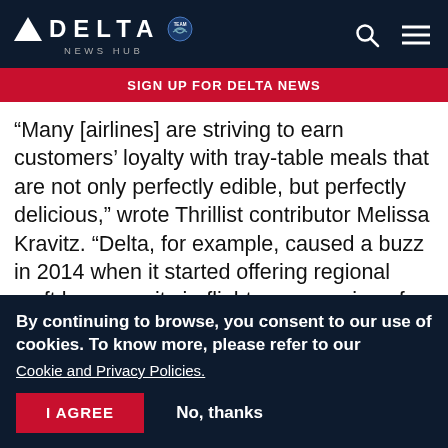DELTA NEWS HUB
SIGN UP FOR DELTA NEWS
“Many [airlines] are striving to earn customers’ loyalty with tray-table meals that are not only perfectly edible, but perfectly delicious,” wrote Thrillist contributor Melissa Kravitz. “Delta, for example, caused a buzz in 2014 when it started offering regional craft brews on its in-flight menu, a sign of things to come.”
Kravitz explained that now Delta One customers
By continuing to browse, you consent to our use of cookies. To know more, please refer to our Cookie and Privacy Policies.
I AGREE   No, thanks